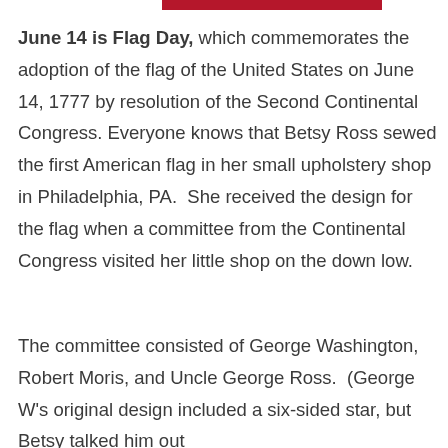[Figure (other): Red horizontal bar at top of page]
June 14 is Flag Day, which commemorates the adoption of the flag of the United States on June 14, 1777 by resolution of the Second Continental Congress. Everyone knows that Betsy Ross sewed the first American flag in her small upholstery shop in Philadelphia, PA.  She received the design for the flag when a committee from the Continental Congress visited her little shop on the down low.
The committee consisted of George Washington, Robert Moris, and Uncle George Ross.  (George W's original design included a six-sided star, but Betsy talked him out